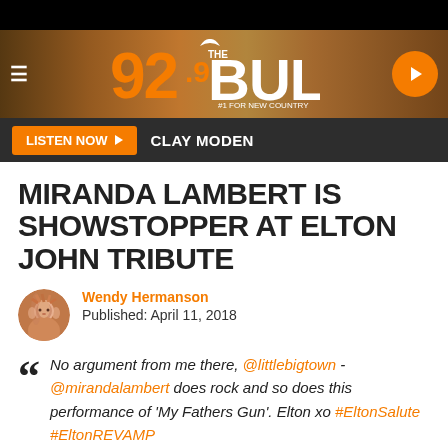[Figure (logo): 92.9 The Bull radio station header with logo, hamburger menu, and play button on a warm brown/wheat field background]
LISTEN NOW | CLAY MODEN
MIRANDA LAMBERT IS SHOWSTOPPER AT ELTON JOHN TRIBUTE
Wendy Hermanson
Published: April 11, 2018
No argument from me there, @littlebigtown - @mirandalambert does rock and so does this performance of 'My Fathers Gun'. Elton xo #EltonSalute #EltonREVAMP